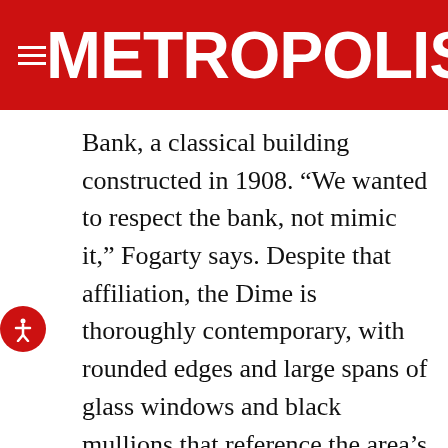METROPOLIS
Bank, a classical building constructed in 1908. “We wanted to respect the bank, not mimic it,” Fogarty says. Despite that affiliation, the Dime is thoroughly contemporary, with rounded edges and large spans of glass windows and black mullions that reference the area’s industrial legacy.
Every commercial level has its own outdoor terrace, but the building’s primary amenity space is on the fifth floor, where residents